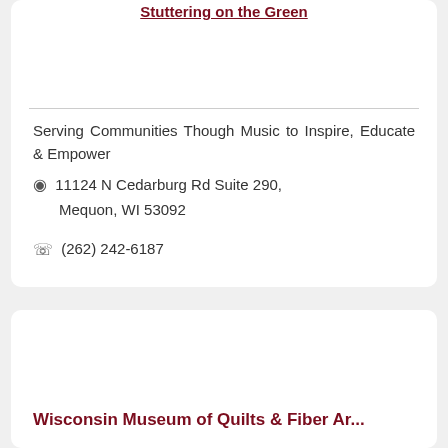Stuttering on the Green
Serving Communities Though Music to Inspire, Educate & Empower
11124 N Cedarburg Rd Suite 290, Mequon, WI 53092
(262) 242-6187
Wisconsin Museum of Quilts & Fiber Ar...